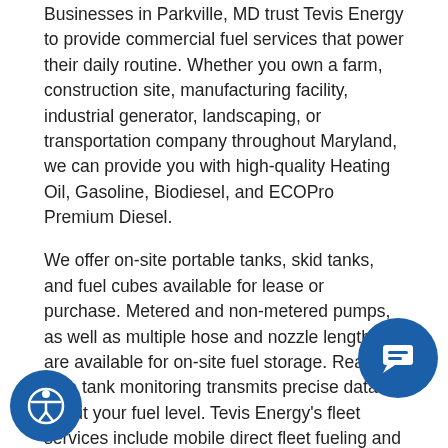Businesses in Parkville, MD trust Tevis Energy to provide commercial fuel services that power their daily routine. Whether you own a farm, construction site, manufacturing facility, industrial generator, landscaping, or transportation company throughout Maryland, we can provide you with high-quality Heating Oil, Gasoline, Biodiesel, and ECOPro Premium Diesel.
We offer on-site portable tanks, skid tanks, and fuel cubes available for lease or purchase. Metered and non-metered pumps, as well as multiple hose and nozzle lengths, are available for on-site fuel storage. Real-time tank monitoring transmits precise data about your fuel level. Tevis Energy's fleet services include mobile direct fleet fueling and Diesel Exhaust Fluid (DEF) delivery. Bulk and wholesale delivery services are available for large commercial retailers. Read more.
…ependable service and affordable commercial…ons in Baltimore County, contact Tevis today!